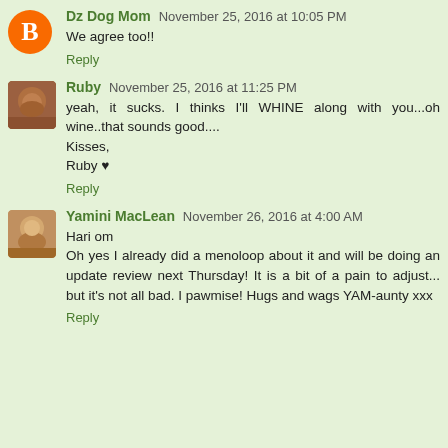Dz Dog Mom November 25, 2016 at 10:05 PM
We agree too!!
Reply
Ruby November 25, 2016 at 11:25 PM
yeah, it sucks. I thinks I'll WHINE along with you...oh wine..that sounds good.... Kisses, Ruby ♥
Reply
Yamini MacLean November 26, 2016 at 4:00 AM
Hari om Oh yes I already did a menoloop about it and will be doing an update review next Thursday! It is a bit of a pain to adjust... but it's not all bad. I pawmise! Hugs and wags YAM-aunty xxx
Reply